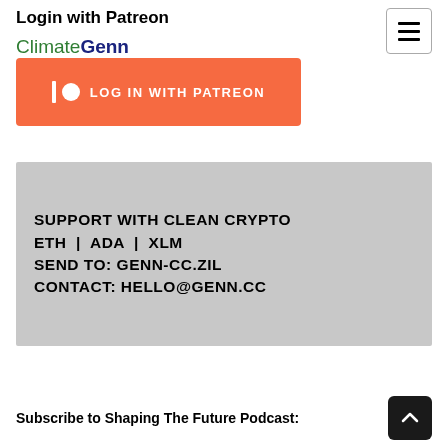Login with Patreon
[Figure (logo): ClimateGenn logo text with Climate in green and Genn in dark blue, above an orange Log In with Patreon button]
[Figure (infographic): Gray banner with bold black text: SUPPORT WITH CLEAN CRYPTO ETH | ADA | XLM SEND TO: GENN-CC.ZIL CONTACT: HELLO@GENN.CC]
Subscribe to Shaping The Future Podcast: